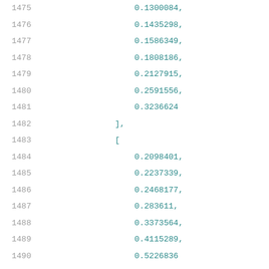Code listing showing JSON data with numeric values and keys: lines 1475-1496 showing array values (0.1300084 through 0.3236624, then 0.2098401 through 0.5226836), closing brackets, and start of cell_rise,del_1_7_7 entry with index_1 array beginning with 0.01